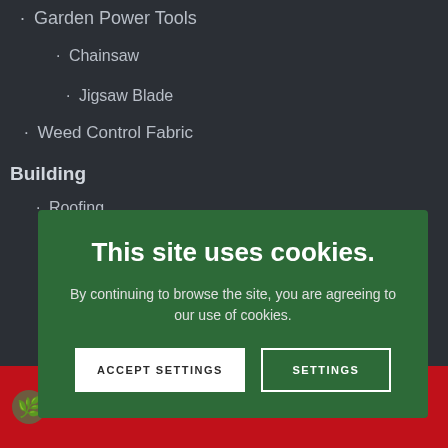Garden Power Tools
Chainsaw
Jigsaw Blade
Weed Control Fabric
Building
Roofing
This site uses cookies.
By continuing to browse the site, you are agreeing to our use of cookies.
Roofing Accessories
We remain open for business